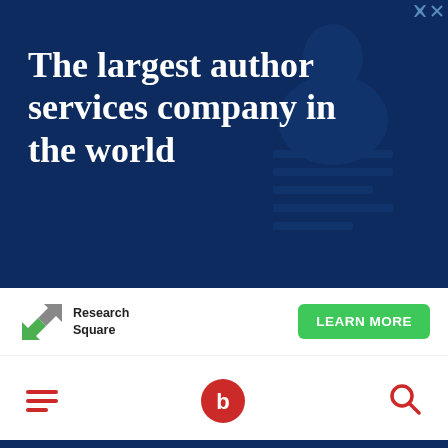[Figure (illustration): Advertisement banner with dark navy blue background, watermark document/paper icon in the background, white bold serif text reading 'The largest author services company in the world']
[Figure (logo): Research Square logo with green/gray arrow icon and 'Research Square' text alongside a green 'LEARN MORE' button]
[Figure (illustration): Navigation bar with red hamburger menu icon on left, red circular 'b' (BioMed Central) logo in center, red search magnifying glass icon on right]